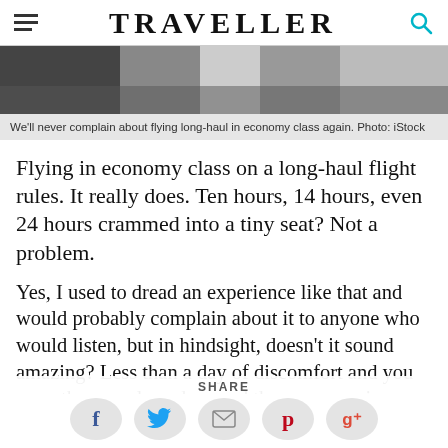TRAVELLER
[Figure (photo): Partial view of airplane interior/passengers, blurred/cropped at top of article]
We'll never complain about flying long-haul in economy class again. Photo: iStock
Flying in economy class on a long-haul flight rules. It really does. Ten hours, 14 hours, even 24 hours crammed into a tiny seat? Not a problem.
Yes, I used to dread an experience like that and would probably complain about it to anyone who would listen, but in hindsight, doesn't it sound amazing? Less than a day of discomfort and you open the aeroplane door and there you are in another country, in another continent, in another
SHARE